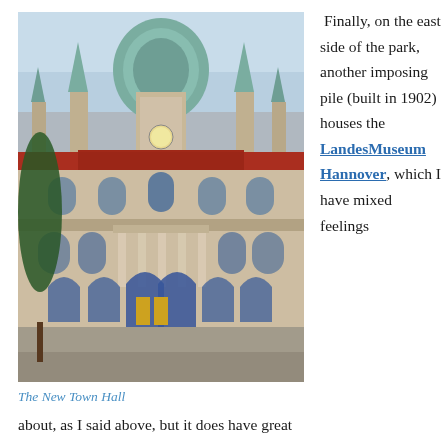[Figure (photo): Photograph of the New Town Hall in Hannover, a large ornate historic building with a green dome, red roof, and stone facade with arched windows and entrances.]
The New Town Hall
Finally, on the east side of the park, another imposing pile (built in 1902) houses the LandesMuseum Hannover, which I have mixed feelings about, as I said above, but it does have great